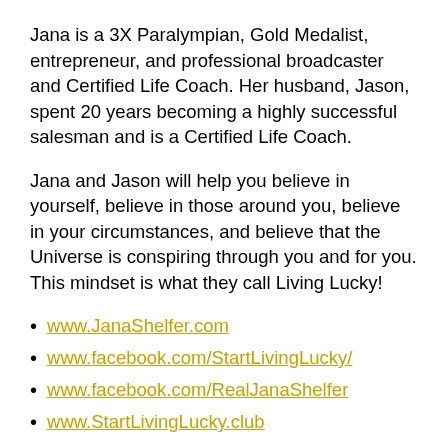Jana is a 3X Paralympian, Gold Medalist, entrepreneur, and professional broadcaster and Certified Life Coach. Her husband, Jason, spent 20 years becoming a highly successful salesman and is a Certified Life Coach.
Jana and Jason will help you believe in yourself, believe in those around you, believe in your circumstances, and believe that the Universe is conspiring through you and for you. This mindset is what they call Living Lucky!
www.JanaShelfer.com
www.facebook.com/StartLivingLucky/
www.facebook.com/RealJanaShelfer
www.StartLivingLucky.club